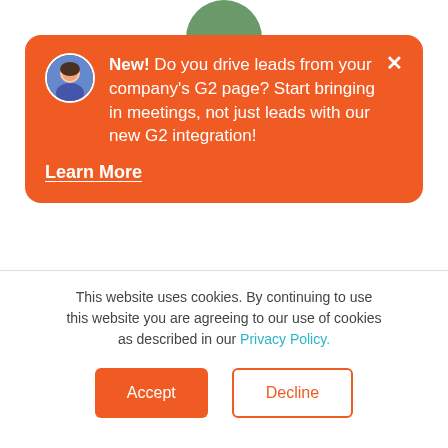[Figure (screenshot): Orange notification card overlay on a webpage. Card shows avatar of a woman, bold text 'New! Do you drive leads from your company's G2 page? Start bringing in meetings, not just leads with our new G2 integration!' and a 'Learn More' underlined link. Close X button top right.]
Manager at Chili Piper. She graduated with a B.S. in Psychology from Tulane University, and has been published in Investopedia, Fundera, and Fit Small Business among others. With seven years of experience in digital marketing, her primary goal is to create the most
This website uses cookies. By continuing to use this website you are agreeing to our use of cookies as described in our Privacy Policy.